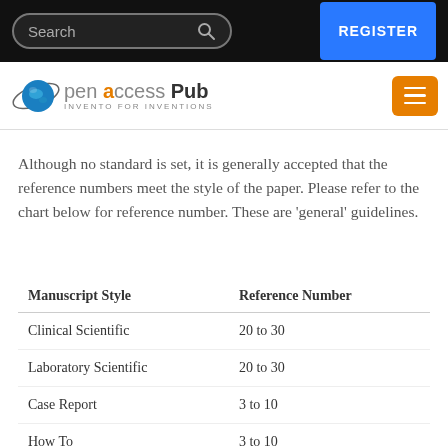[Figure (screenshot): Website header with black top bar containing a search box and blue REGISTER button, followed by Open Access Pub logo bar with globe icon and orange hamburger menu button]
Although no standard is set, it is generally accepted that the reference numbers meet the style of the paper. Please refer to the chart below for reference number. These are ‘general’ guidelines.
| Manuscript Style | Reference Number |
| --- | --- |
| Clinical Scientific | 20 to 30 |
| Laboratory Scientific | 20 to 30 |
| Case Report | 3 to 10 |
| How To | 3 to 10 |
| Review | 50 to 150 |